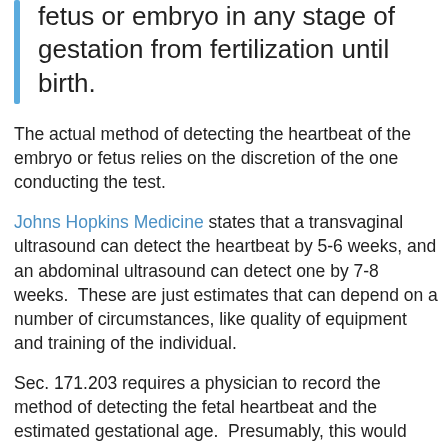fetus or embryo in any stage of gestation from fertilization until birth.
The actual method of detecting the heartbeat of the embryo or fetus relies on the discretion of the one conducting the test.
Johns Hopkins Medicine states that a transvaginal ultrasound can detect the heartbeat by 5-6 weeks, and an abdominal ultrasound can detect one by 7-8 weeks.  These are just estimates that can depend on a number of circumstances, like quality of equipment and training of the individual.
Sec. 171.203 requires a physician to record the method of detecting the fetal heartbeat and the estimated gestational age.  Presumably, this would